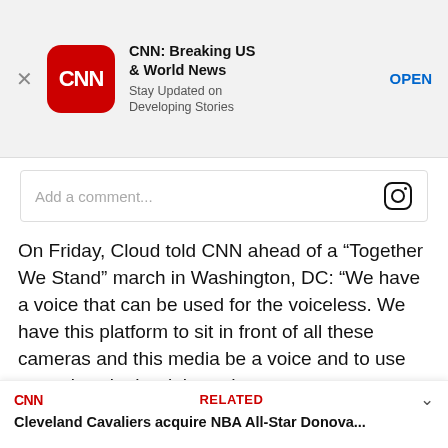[Figure (screenshot): CNN app advertisement banner with CNN logo, app name 'CNN: Breaking US & World News', subtitle 'Stay Updated on Developing Stories', and OPEN button]
[Figure (screenshot): Instagram comment input box with placeholder text 'Add a comment...' and Instagram camera icon]
On Friday, Cloud told CNN ahead of a “Together We Stand” march in Washington, DC: “We have a voice that can be used for the voiceless. We have this platform to sit in front of all these cameras and this media be a voice and to use our voices in the right and correct way.
“So I challenge all of us: If you’re staying silent, you’re part of the problem. If you’re choosing to be neutral, you’re choosing the side of the oppressor.
[Figure (screenshot): CNN related content bar at bottom showing 'Cleveland Cavaliers acquire NBA All-Star Donova...']